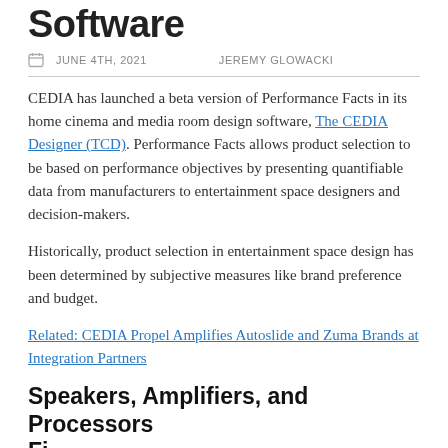Software
JUNE 4TH, 2021    JEREMY GLOWACKI
CEDIA has launched a beta version of Performance Facts in its home cinema and media room design software, The CEDIA Designer (TCD). Performance Facts allows product selection to be based on performance objectives by presenting quantifiable data from manufacturers to entertainment space designers and decision-makers.
Historically, product selection in entertainment space design has been determined by subjective measures like brand preference and budget.
Related: CEDIA Propel Amplifies Autoslide and Zuma Brands at Integration Partners
Speakers, Amplifiers, and Processors First...